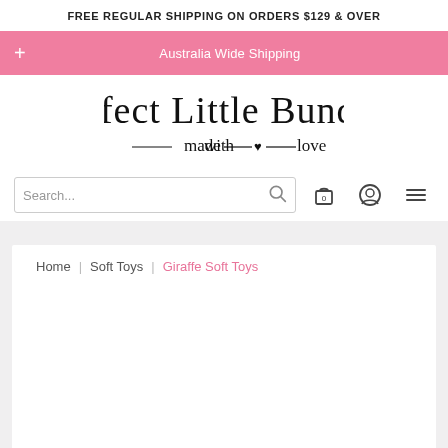FREE REGULAR SHIPPING ON ORDERS $129 & OVER
+ Australia Wide Shipping
[Figure (logo): Perfect Little Bundles logo — cursive/script text reading 'Perfect Little Bundles' with tagline 'made with love' and a small heart]
Search...
Home | Soft Toys | Giraffe Soft Toys